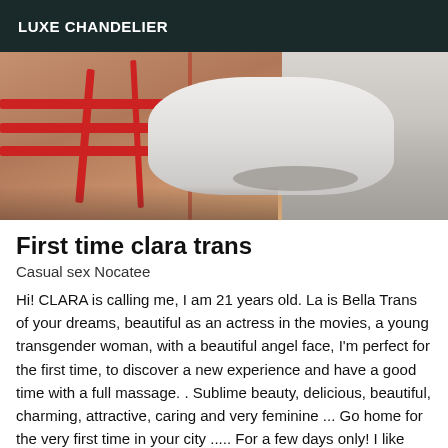LUXE CHANDELIER
[Figure (photo): Close-up photo of a person's lower torso wearing red strappy lingerie, with a bathroom fixture visible in the background on the right side.]
First time clara trans
Casual sex Nocatee
Hi! CLARA is calling me, I am 21 years old. La is Bella Trans of your dreams, beautiful as an actress in the movies, a young transgender woman, with a beautiful angel face, I'm perfect for the first time, to discover a new experience and have a good time with a full massage. . Sublime beauty, delicious, beautiful, charming, attractive, caring and very feminine ... Go home for the very first time in your city ..... For a few days only! I like new experiences, I am sociable, smiling,